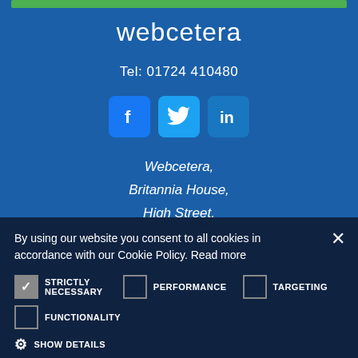[Figure (logo): Green horizontal bar at top of blue background]
webcetera
Tel: 01724 410480
[Figure (illustration): Social media icons: Facebook, Twitter, LinkedIn]
Webcetera,
Britannia House,
High Street,
By using our website you consent to all cookies in accordance with our Cookie Policy. Read more
STRICTLY NECESSARY (checked), PERFORMANCE (unchecked), TARGETING (unchecked)
FUNCTIONALITY (unchecked)
SHOW DETAILS
ACCEPT ALL | DECLINE ALL